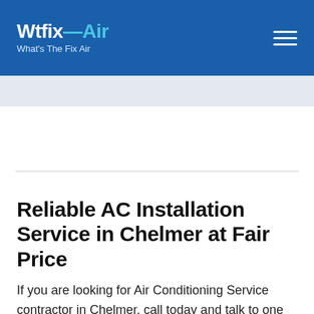Wtfix-Air What's The Fix Air
Reliable AC Installation Service in Chelmer at Fair Price
If you are looking for Air Conditioning Service contractor in Chelmer, call today and talk to one of our Chelmer AC Installation specialists. They'll answer all your questions and arrange an appointment at your